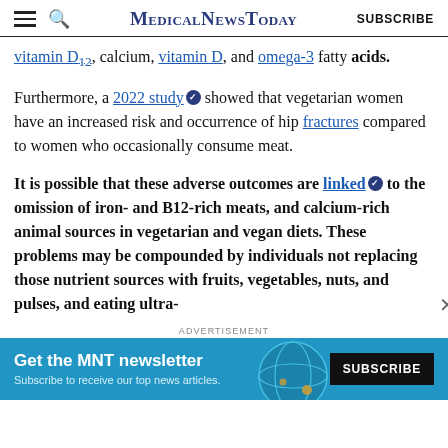MedicalNewsToday SUBSCRIBE
vitamin D12, calcium, vitamin D, and omega-3 fatty acids.
Furthermore, a 2022 study showed that vegetarian women have an increased risk and occurrence of hip fractures compared to women who occasionally consume meat.
It is possible that these adverse outcomes are linked to the omission of iron- and B12-rich meats, and calcium-rich animal sources in vegetarian and vegan diets. These problems may be compounded by individuals not replacing those nutrient sources with fruits, vegetables, nuts, and pulses, and eating ultra-
ADVERTISEMENT
[Figure (other): MNT newsletter advertisement banner: 'Get the MNT newsletter — Subscribe to receive our top news articles' with a SUBSCRIBE button on dark background, teal background with globe graphic]